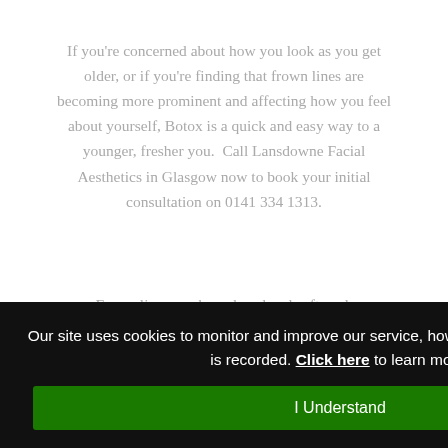If you're concerned about how you look as you get older, or if you're finding that frown lines are becoming more prominent and affecting how you feel about yourself, Botox is a quick and easy way to a younger, fresher you.  Call Lansdowne Facial Aesthetics in Glasgow now to book your initial consultation on 0141 334 1313.
Frown lines can be reduced and softened.
ftened and
te out from nd can be genetics or natural aging, can be reduced giving a rested appearance
Our site uses cookies to monitor and improve our service, however no personal information is recorded. Click here to learn more.
I Understand